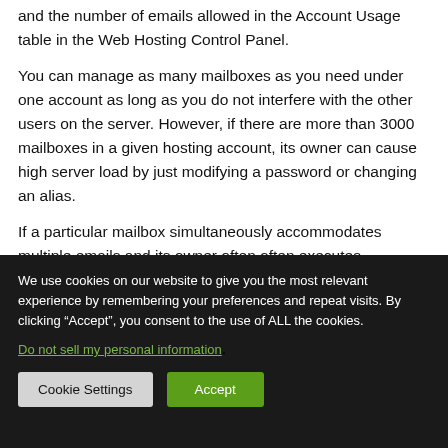and the number of emails allowed in the Account Usage table in the Web Hosting Control Panel.
You can manage as many mailboxes as you need under one account as long as you do not interfere with the other users on the server. However, if there are more than 3000 mailboxes in a given hosting account, its owner can cause high server load by just modifying a password or changing an alias.
If a particular mailbox simultaneously accommodates multiple emails and its owner often often executes...
We use cookies on our website to give you the most relevant experience by remembering your preferences and repeat visits. By clicking “Accept”, you consent to the use of ALL the cookies.
Do not sell my personal information.